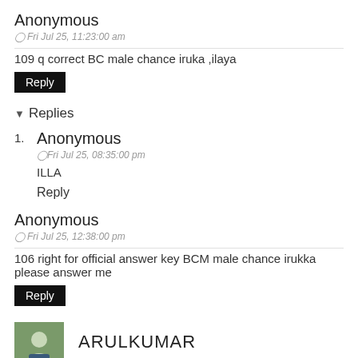Anonymous
Fri Jul 25, 11:23:00 am
109 q correct BC male chance iruka ,ilaya
Reply
Replies
1. Anonymous — Fri Jul 25, 08:35:00 pm — ILLA — Reply
Anonymous
Fri Jul 25, 12:38:00 pm
106 right for official answer key BCM male chance irukka please answer me
Reply
ARULKUMAR